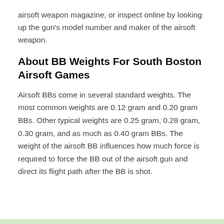airsoft weapon magazine, or inspect online by looking up the gun's model number and maker of the airsoft weapon.
About BB Weights For South Boston Airsoft Games
Airsoft BBs come in several standard weights. The most common weights are 0.12 gram and 0.20 gram BBs. Other typical weights are 0.25 gram, 0.28 gram, 0.30 gram, and as much as 0.40 gram BBs. The weight of the airsoft BB influences how much force is required to force the BB out of the airsoft gun and direct its flight path after the BB is shot.